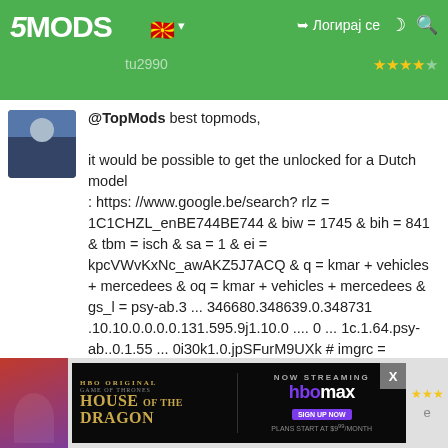5MODS | Логирај се
@TopMods best topmods,

it would be possible to get the unlocked for a Dutch model
: https: //www.google.be/search? rlz = 1C1CHZL_enBE744BE744 & biw = 1745 & bih = 841 & tbm = isch & sa = 1 & ei = kpcVWvKxNc_awAKZ5J7ACQ & q = kmar + vehicles + mercedees & oq = kmar + vehicles + mercedees & gs_l = psy-ab.3 ... 346680.348639.0.348731 .10.10.0.0.0.0.131.595.9j1.10.0 .... 0 ... 1c.1.64.psy-ab..0.1.55 ... 0i30k1.0.jpSFurM9UXk # imgrc = zr8TBNS1seG57M:

thanks in advance
Matti2990
Ноември 22, 2017
[Figure (screenshot): HBO Max advertisement for House of the Dragon - Now Streaming]